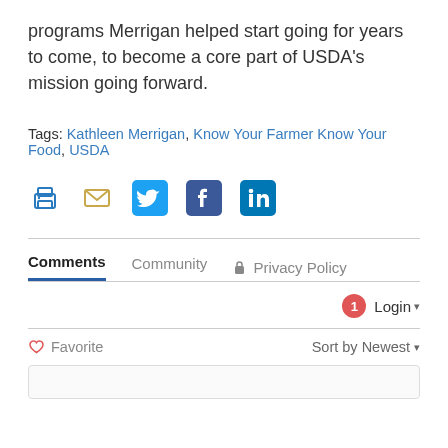programs Merrigan helped start going for years to come, to become a core part of USDA's mission going forward.
Tags: Kathleen Merrigan, Know Your Farmer Know Your Food, USDA
[Figure (other): Social sharing icons: print, email, Twitter, Facebook, LinkedIn]
Comments  Community  🔒 Privacy Policy
Login ▾
♡ Favorite   Sort by Newest ▾